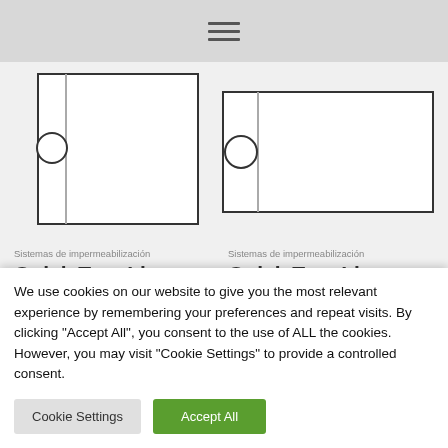[Figure (screenshot): Top navigation bar with hamburger menu icon on gray background]
[Figure (schematic): Left product card: schematic diagram of Quick Tray Linear with vertical line and circle detail on rectangle outline]
[Figure (schematic): Right product card: schematic diagram of Quick Tray Linear with vertical line and circle detail on landscape rectangle outline]
Sistemas de impermeabilización
Quick Tray Linear
Sistemas de impermeabilización
Quick Tray Linear
We use cookies on our website to give you the most relevant experience by remembering your preferences and repeat visits. By clicking "Accept All", you consent to the use of ALL the cookies. However, you may visit "Cookie Settings" to provide a controlled consent.